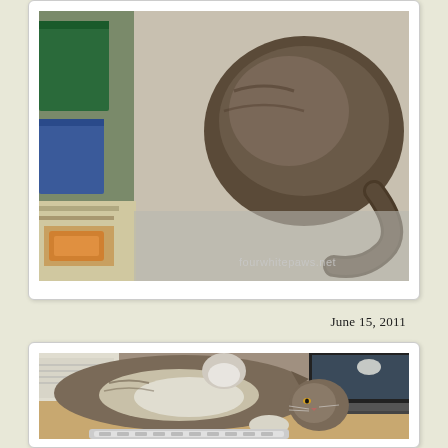[Figure (photo): A cat curled up on a desk surface near stacked files and books, viewed from above. Watermark reads 'fourwhitepaws.net'.]
June 15, 2011
[Figure (photo): A large fluffy tabby cat lying stretched out on a wooden desk next to a laptop, showing white paws and looking toward the camera.]